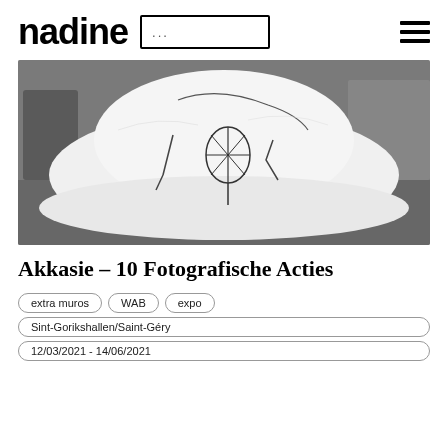nadine
[Figure (photo): Black and white photograph of a white baseball cap with embroidered stitching forming an abstract figure or design on the front panel, placed on a surface with chairs and room visible in background.]
Akkasie – 10 Fotografische Acties
extra muros
WAB
expo
Sint-Gorikshallen/Saint-Géry
12/03/2021 - 14/06/2021